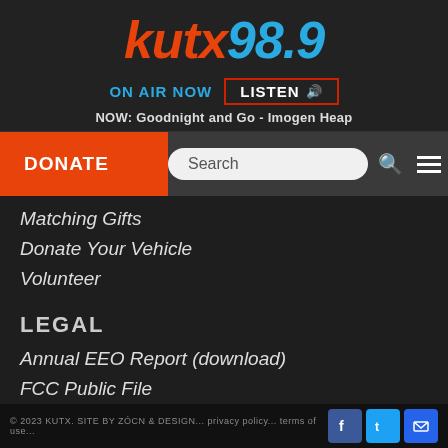kutx98.9
ON AIR NOW   LISTEN 🔊
NOW: Goodnight and Go - Imogen Heap
DONATE
Matching Gifts
Donate Your Vehicle
Volunteer
LEGAL
Annual EEO Report (download)
FCC Public File
Privacy Policy
© 2023 KUTX. SITE BY ZÓCN & DESIGN... privacy policy... terms of use...